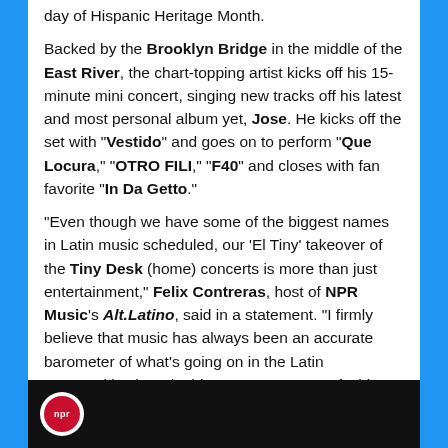day of Hispanic Heritage Month.
Backed by the Brooklyn Bridge in the middle of the East River, the chart-topping artist kicks off his 15-minute mini concert, singing new tracks off his latest and most personal album yet, Jose. He kicks off the set with “Vestido” and goes on to perform “Que Locura,” “OTRO FILI,” “F40” and closes with fan favorite “In Da Getto.”
“Even though we have some of the biggest names in Latin music scheduled, our ‘El Tiny’ takeover of the Tiny Desk (home) concerts is more than just entertainment,” Felix Contreras, host of NPR Music’s Alt.Latino, said in a statement. “I firmly believe that music has always been an accurate barometer of what’s going on in the Latin communities here in this country. Reggaetón hip-hop, soul, Afro Latino, jazz — it’s all reflected in our lineup and shows how diverse our listening habits, and our community, is.”
[Figure (photo): Dark strip at bottom showing NPR logo circle on black background, partial view of a video or image]